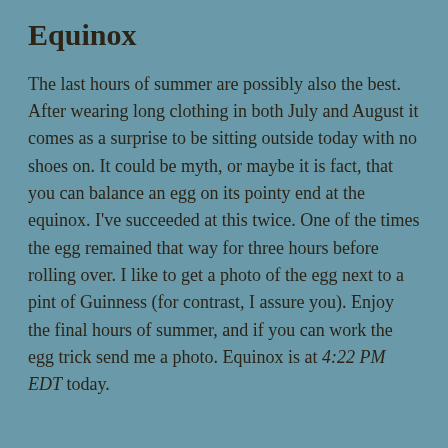Equinox
The last hours of summer are possibly also the best. After wearing long clothing in both July and August it comes as a surprise to be sitting outside today with no shoes on. It could be myth, or maybe it is fact, that you can balance an egg on its pointy end at the equinox. I've succeeded at this twice. One of the times the egg remained that way for three hours before rolling over. I like to get a photo of the egg next to a pint of Guinness (for contrast, I assure you). Enjoy the final hours of summer, and if you can work the egg trick send me a photo. Equinox is at 4:22 PM EDT today.